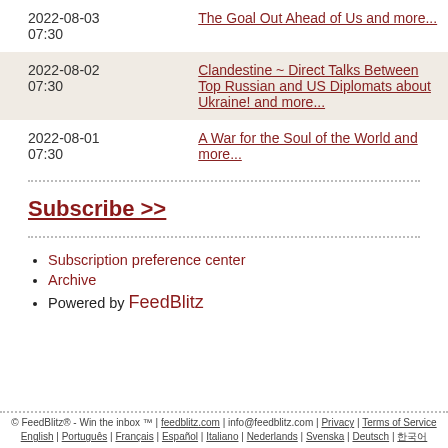| Date | Title |
| --- | --- |
| 2022-08-03 07:30 | The Goal Out Ahead of Us and more... |
| 2022-08-02 07:30 | Clandestine ~ Direct Talks Between Top Russian and US Diplomats about Ukraine! and more... |
| 2022-08-01 07:30 | A War for the Soul of the World and more... |
Subscribe >>
Subscription preference center
Archive
Powered by FeedBlitz
© FeedBlitz® - Win the inbox ™ | feedblitz.com | info@feedblitz.com | Privacy | Terms of Service English | Português | Français | Español | Italiano | Nederlands | Svenska | Deutsch | 한국어